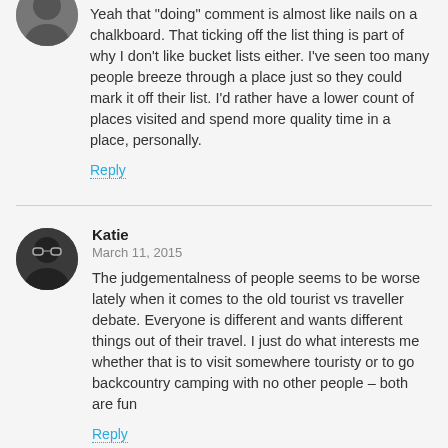[Figure (photo): Circular avatar of a person, grayscale, partially visible at top]
Yeah that “doing” comment is almost like nails on a chalkboard. That ticking off the list thing is part of why I don’t like bucket lists either. I’ve seen too many people breeze through a place just so they could mark it off their list. I’d rather have a lower count of places visited and spend more quality time in a place, personally.
Reply
Katie
March 11, 2015
The judgementalness of people seems to be worse lately when it comes to the old tourist vs traveller debate. Everyone is different and wants different things out of their travel. I just do what interests me whether that is to visit somewhere touristy or to go backcountry camping with no other people – both are fun
Reply
[Figure (photo): Circular avatar of Talon Windwalker, partially visible at bottom]
Talon Windwalker
March 11, 2015